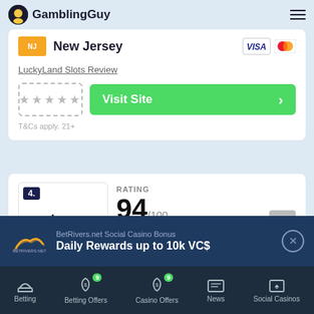GamblingGuy
[Figure (screenshot): New Jersey flag icon with Visa and Mastercard payment icons]
LuckyLand Slots Review
[Figure (other): Star rating placeholder (dashed box with asterisks) and green Visit Site button]
T&Cs apply. 21+
[Figure (other): Pulsz.com casino card with badge number 4, logo, year 2006, rating 94/100 and 5 stars]
Pulsz.com Bonus
[Figure (other): BetRivers.net Social Casino Bonus ad banner: Daily Rewards up to 10k VC$]
Betting | Betting Offers 9 | Casino Offers 9 | News | Social Casinos